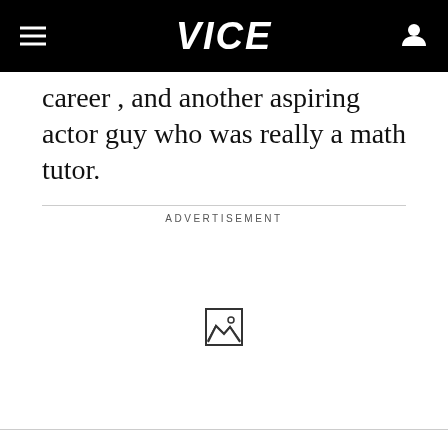VICE
career , and another aspiring actor guy who was really a math tutor.
ADVERTISEMENT
[Figure (other): Broken/placeholder image icon in advertisement area]